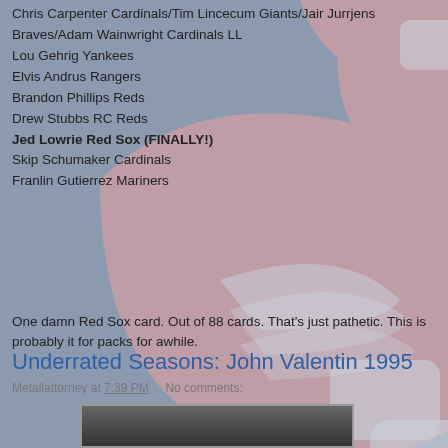Chris Carpenter Cardinals/Tim Lincecum Giants/Jair Jurrjens Braves/Adam Wainwright Cardinals LL
Lou Gehrig Yankees
Elvis Andrus Rangers
Brandon Phillips Reds
Drew Stubbs RC Reds
Jed Lowrie Red Sox (FINALLY!)
Skip Schumaker Cardinals
Franlin Gutierrez Mariners
One damn Red Sox card. Out of 88 cards. That’s just pathetic. This is probably it for packs for awhile.
Metallattorney at 7:39 PM   No comments:
Underrated Seasons: John Valentin 1995
[Figure (photo): Partial photo of a baseball player, cropped at bottom of page]